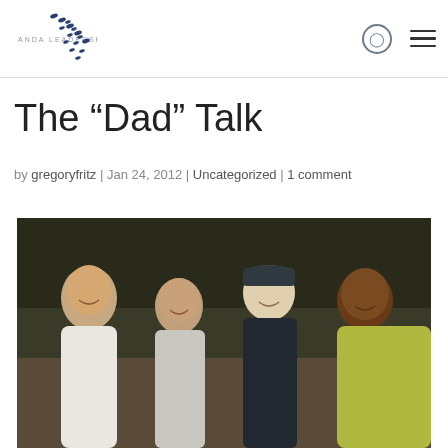ANDA LEADERSHIP [logo with birds]
The “Dad” Talk
by gregoryfritz | Jan 24, 2012 | Uncategorized | 1 comment
[Figure (photo): A group of four people posing together outdoors — three women and one man wearing a cap, with trees in the background.]